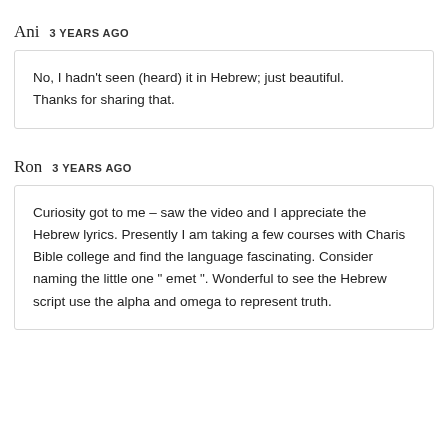Ani   3 YEARS AGO
No, I hadn't seen (heard) it in Hebrew; just beautiful. Thanks for sharing that.
Ron   3 YEARS AGO
Curiosity got to me – saw the video and I appreciate the Hebrew lyrics. Presently I am taking a few courses with Charis Bible college and find the language fascinating. Consider naming the little one " emet ". Wonderful to see the Hebrew script use the alpha and omega to represent truth.